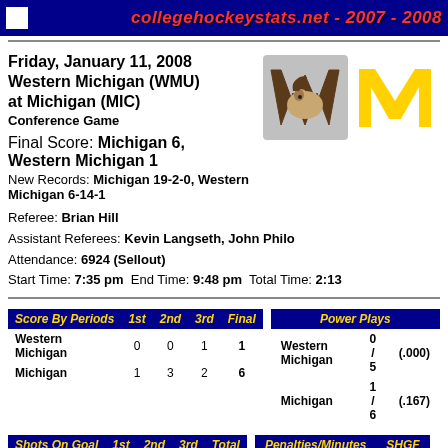collegehockeystats.net - 2007 - 2008
Friday, January 11, 2008 Western Michigan (WMU) at Michigan (MIC)
Conference Game
Final Score: Michigan 6, Western Michigan 1
New Records: Michigan 19-2-0, Western Michigan 6-14-1
Referee: Brian Hill
Assistant Referees: Kevin Langseth, John Philo
Attendance: 6924 (Sellout)
Start Time: 7:35 pm  End Time: 9:48 pm  Total Time: 2:13
| Score By Periods | 1st | 2nd | 3rd | Final |
| --- | --- | --- | --- | --- |
| Western Michigan | 0 | 0 | 1 | 1 |
| Michigan | 1 | 3 | 2 | 6 |
| Power Plays |  |  |
| --- | --- | --- |
| Western Michigan | 0 / 5 | (.000) |
| Michigan | 1 / 6 | (.167) |
| Shots On Goal | 1st | 2nd | 3rd | Total |
| --- | --- | --- | --- | --- |
| Western Michigan | 6 | 5 | 11 | 22 |
| Penalties/Minutes | SHGF |
| --- | --- |
| Western Michigan | 7 / 14 | 0 |